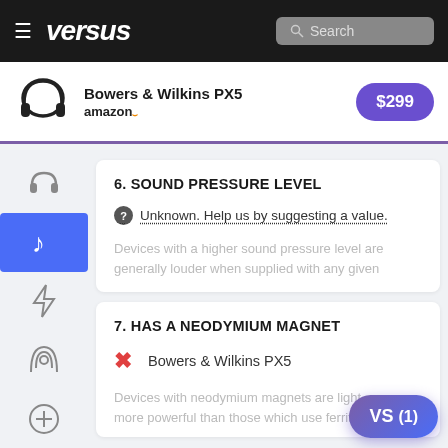versus — Search
[Figure (screenshot): Versus comparison website header with hamburger menu, versus logo, and search box]
Bowers & Wilkins PX5 — amazon — $299
6. SOUND PRESSURE LEVEL
Unknown. Help us by suggesting a value.
Devices with a higher sound pressure level are generally louder when supplied with any given
7. HAS A NEODYMIUM MAGNET
✗ Bowers & Wilkins PX5
Devices with neodymium magnets are light more powerful than those which use ferrite